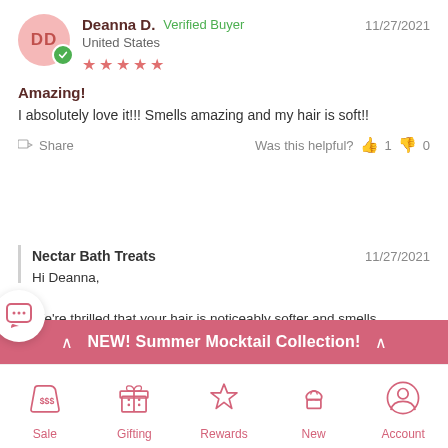Deanna D. — Verified Buyer — United States — 11/27/2021 — ★★★★★
Amazing!
I absolutely love it!!! Smells amazing and my hair is soft!!
Share — Was this helpful? 👍 1 👎 0
Nectar Bath Treats — 11/27/2021
Hi Deanna,

We're thrilled that your hair is noticeably softer and smells amazing! Thank you so much for your wonderful review🌸
NEW! Summer Mocktail Collection!
Sale
Gifting
Rewards
New
Account